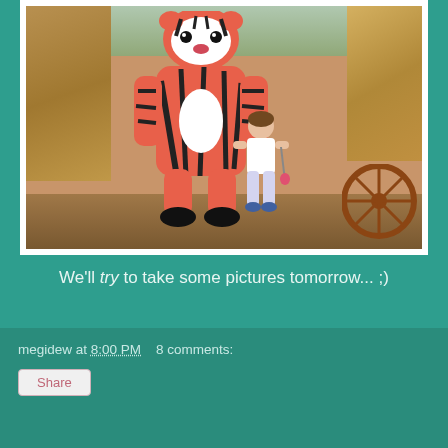[Figure (photo): A child standing next to a large tiger mascot costume character, outdoors at what appears to be a theme park. A wagon wheel is visible on the right, and hay/straw textures are on the sides. The photo has a vintage warm tone.]
We'll try to take some pictures tomorrow... ;)
megidew at 8:00 PM   8 comments:
Share